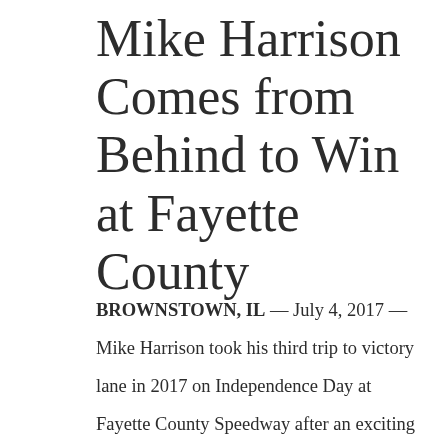Mike Harrison Comes from Behind to Win at Fayette County
BROWNSTOWN, IL — July 4, 2017 —  Mike Harrison took his third trip to victory lane in 2017 on Independence Day at Fayette County Speedway after an exciting three-way race for the lead. Nick Hoffman and Will Krup were battling for the lead when Harrison made up space and claimed several positions to join the hunt for first place. He would